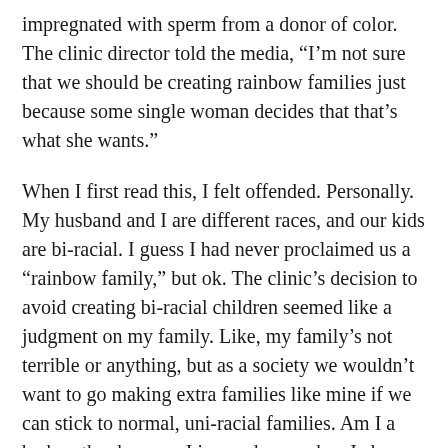impregnated with sperm from a donor of color. The clinic director told the media, “I’m not sure that we should be creating rainbow families just because some single woman decides that that’s what she wants.”
When I first read this, I felt offended. Personally. My husband and I are different races, and our kids are bi-racial. I guess I had never proclaimed us a “rainbow family,” but ok. The clinic’s decision to avoid creating bi-racial children seemed like a judgment on my family. Like, my family’s not terrible or anything, but as a society we wouldn’t want to go making extra families like mine if we can stick to normal, uni-racial families. Am I a bad mother because I ignored race when I chose my spouse? Would it have been more responsible of me to have my kids with a white father?